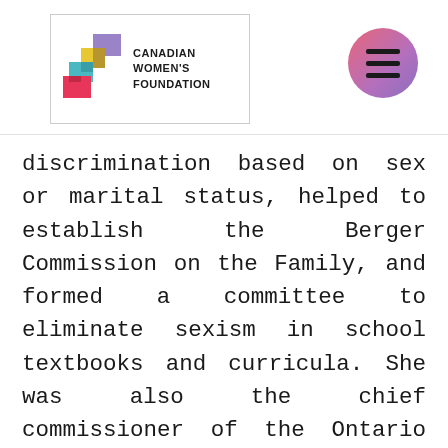Canadian Women's Foundation
[Figure (logo): Canadian Women's Foundation logo with colorful geometric shapes (purple, yellow, teal, pink) and organization name text]
discrimination based on sex or marital status, helped to establish the Berger Commission on the Family, and formed a committee to eliminate sexism in school textbooks and curricula. She was also the chief commissioner of the Ontario Human Rights Commission from 1993-1996. As an advocate for women's rights, she was Ombudswoman and co-founder of the Vancouver Status